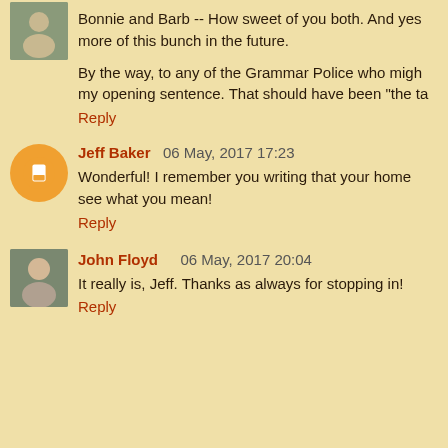Bonnie and Barb -- How sweet of you both. And yes more of this bunch in the future.
By the way, to any of the Grammar Police who might my opening sentence. That should have been "the ta
Reply
Jeff Baker 06 May, 2017 17:23
Wonderful! I remember you writing that your home see what you mean!
Reply
John Floyd 06 May, 2017 20:04
It really is, Jeff. Thanks as always for stopping in!
Reply